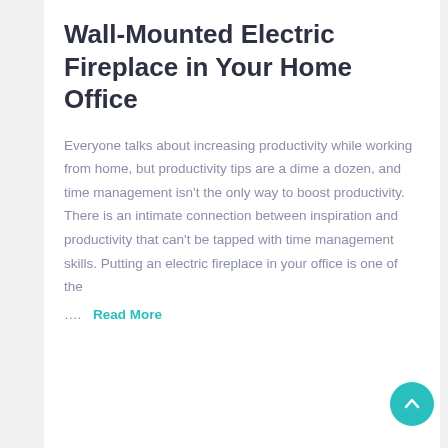Wall-Mounted Electric Fireplace in Your Home Office
Everyone talks about increasing productivity while working from home, but productivity tips are a dime a dozen, and time management isn't the only way to boost productivity. There is an intimate connection between inspiration and productivity that can't be tapped with time management skills. Putting an electric fireplace in your office is one of the
….  Read More